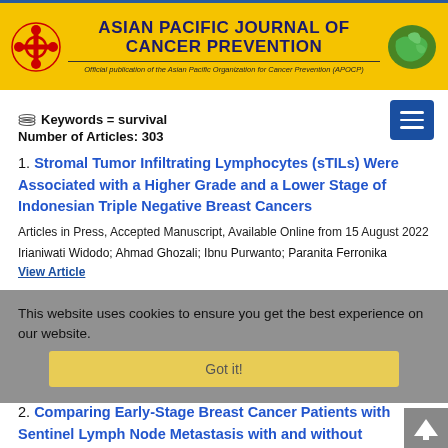ASIAN PACIFIC JOURNAL OF CANCER PREVENTION — Official publication of the Asian Pacific Organization for Cancer Prevention (APOCP)
Keywords = survival
Number of Articles: 303
1. Stromal Tumor Infiltrating Lymphocytes (sTILs) Were Associated with a Higher Grade and a Lower Stage of Indonesian Triple Negative Breast Cancers
Articles in Press, Accepted Manuscript, Available Online from 15 August 2022
Irianiwati Widodo; Ahmad Ghozali; Ibnu Purwanto; Paranita Ferronika
View Article
This website uses cookies to ensure you get the best experience on our website.
Got it!
2. Comparing Early-Stage Breast Cancer Patients with Sentinel Lymph Node Metastasis with and without Completion Axillary